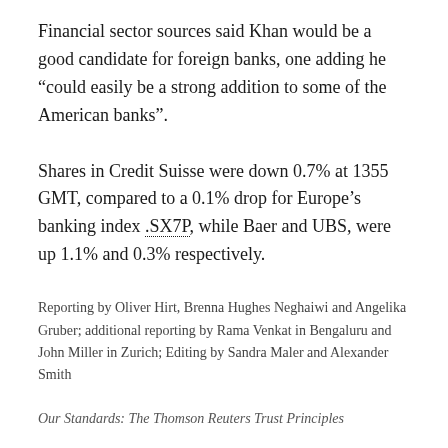Financial sector sources said Khan would be a good candidate for foreign banks, one adding he “could easily be a strong addition to some of the American banks”.
Shares in Credit Suisse were down 0.7% at 1355 GMT, compared to a 0.1% drop for Europe’s banking index .SX7P, while Baer and UBS, were up 1.1% and 0.3% respectively.
Reporting by Oliver Hirt, Brenna Hughes Neghaiwi and Angelika Gruber; additional reporting by Rama Venkat in Bengaluru and John Miller in Zurich; Editing by Sandra Maler and Alexander Smith
Our Standards: The Thomson Reuters Trust Principles